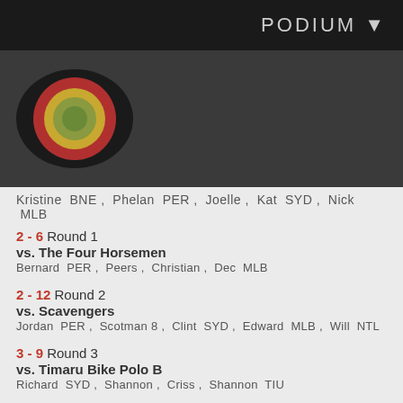PODIUM ▼
[Figure (logo): Concentric circles logo with dark oval background: outermost red ring, yellow ring, green center circle on dark grey background]
Kristine BNE , Phelan PER , Joelle , Kat SYD , Nick MLB
2 - 6 Round 1
vs. The Four Horsemen
Bernard PER , Peers , Christian , Dec MLB
2 - 12 Round 2
vs. Scavengers
Jordan PER , Scotman 8 , Clint SYD , Edward MLB , Will NTL
3 - 9 Round 3
vs. Timaru Bike Polo B
Richard SYD , Shannon , Criss , Shannon TIU
1 - 14 Round 4
vs. The Jamesons
Vive , Ramon , Adrian , Adzy MLB
6 - 0 Round 1
vs. RIP Pluto
Andrew , Mikey , Matthew , Kimber , Lou MLB
1 - 8 Round 2
vs. Timaru Bike Polo B
Richard SYD , Shannon , Criss , Shannon TIU